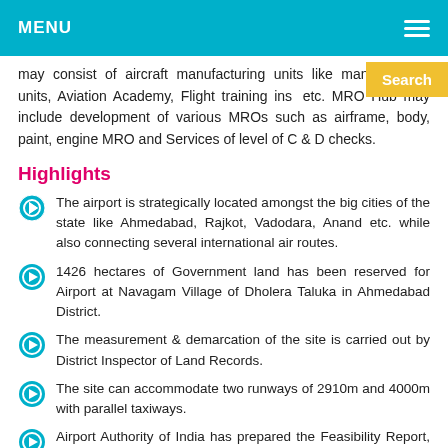MENU
may consist of aircraft manufacturing units like manufacturing units, Aviation Academy, Flight training institute etc. MRO Hub may include development of various MROs such as airframe, body, paint, engine MRO and Services of level of C & D checks.
Highlights
The airport is strategically located amongst the big cities of the state like Ahmedabad, Rajkot, Vadodara, Anand etc. while also connecting several international air routes.
1426 hectares of Government land has been reserved for Airport at Navagam Village of Dholera Taluka in Ahmedabad District.
The measurement & demarcation of the site is carried out by District Inspector of Land Records.
The site can accommodate two runways of 2910m and 4000m with parallel taxiways.
Airport Authority of India has prepared the Feasibility Report, Detailed Project Report & EIA
Japan International Cooperation Agency (JICA) has also